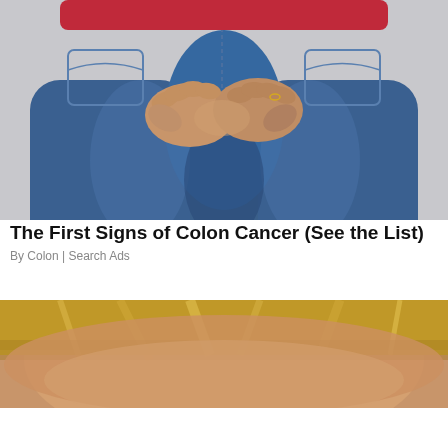[Figure (photo): Close-up of a person from behind wearing blue jeans and a red top, with hands clasped behind their back near the lower back/buttocks area against a light grey background.]
The First Signs of Colon Cancer (See the List)
By Colon | Search Ads
[Figure (photo): Partial view of a person with blonde hair, cropped showing the top of the head and hair, warm/golden tones.]